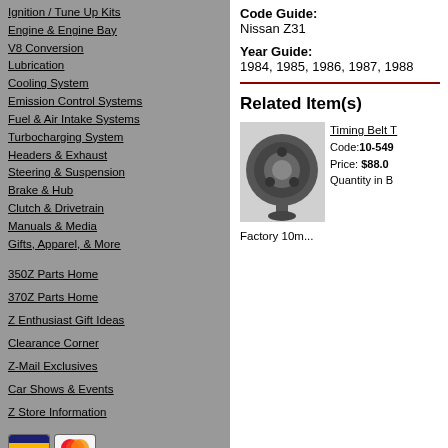Ignition / Tune Up Kits
Engine & Engine Bay
V8 Conversion
Lubrication
Cooling System
Emission Control Systems
Fuel & Air Intake Systems
Turbocharging System
Headers & Exhaust
Steering & Suspension
Brake & Hub
Clutch & Drivetrain
Manuals & Media
Gifts, Apparel, & More
350Z Parts Home
370Z Parts Home
Z Enthusiast Gift Ideas
Clearance Corner
Z-Mail Exclusives
Car Shows & Events
Z Store Information
Code Guide: Nissan Z31
Year Guide: 1984, 1985, 1986, 1987, 1988
Related Item(s)
Timing Belt T... Code:10-549... Price: $88.0... Quantity in B...
Factory 10m...